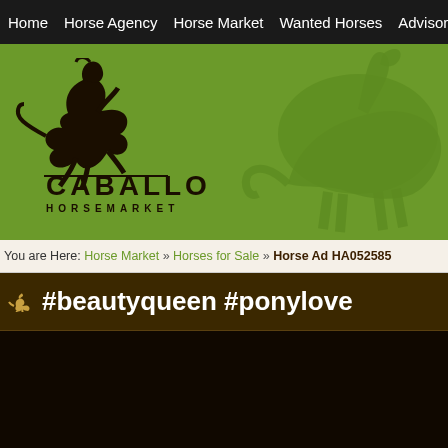Home | Horse Agency | Horse Market | Wanted Horses | Advisor | Hors
[Figure (logo): Caballo Horsemarket logo with black jumping horse silhouette on green banner background]
You are Here: Horse Market » Horses for Sale » Horse Ad HA052585
#beautyqueen #ponylove
[Figure (photo): Dark/black image area, content not visible]